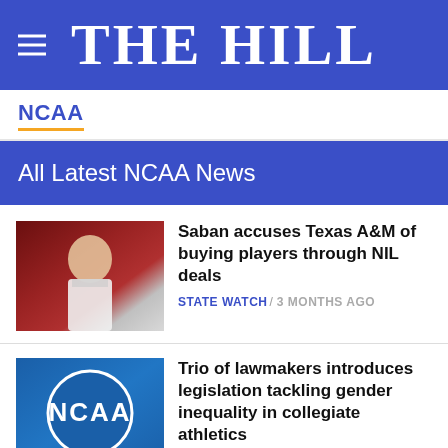THE HILL
NCAA
All Latest NCAA News
[Figure (photo): Photo of Nick Saban in white jacket on football sideline]
Saban accuses Texas A&M of buying players through NIL deals
STATE WATCH / 3 MONTHS AGO
[Figure (photo): NCAA logo on blue sign]
Trio of lawmakers introduces legislation tackling gender inequality in collegiate athletics
HOUSE / 5 MONTHS AGO